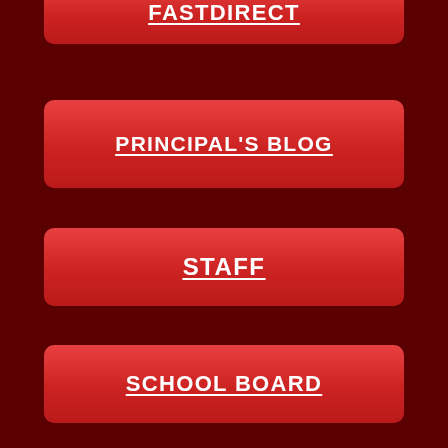FASTDIRECT
PRINCIPAL'S BLOG
STAFF
SCHOOL BOARD
PTO
OUR STORY (HISTORY)
School Events